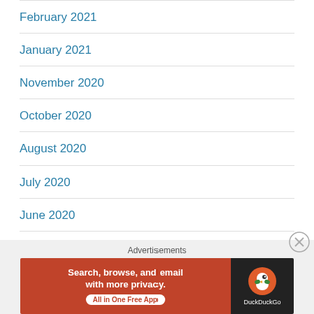February 2021
January 2021
November 2020
October 2020
August 2020
July 2020
June 2020
May 2020
April 2020
[Figure (screenshot): DuckDuckGo advertisement banner with orange left panel reading 'Search, browse, and email with more privacy. All in One Free App' and dark right panel with DuckDuckGo duck logo]